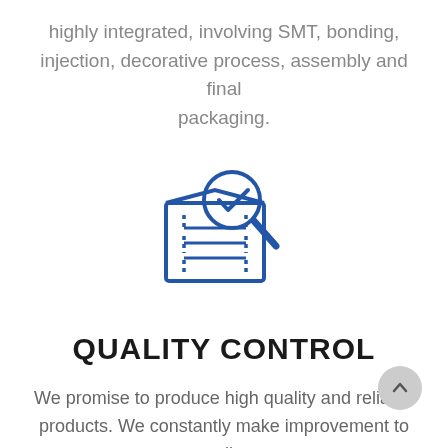highly integrated, involving SMT, bonding, injection, decorative process, assembly and final packaging.
[Figure (illustration): Blue line-art icon of a document/box being inspected with a magnifying glass that has a checkmark inside the lens]
QUALITY CONTROL
We promise to produce high quality and reliable products. We constantly make improvement to all areas of operations, from incoming materials, manufacturing to finished product inspections.